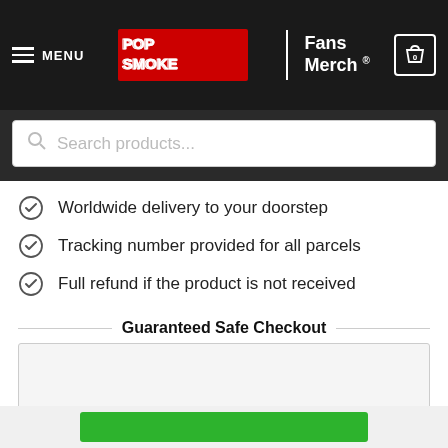MENU | POP SMOKE Fans Merch ® | Cart 0
Search products...
Worldwide delivery to your doorstep
Tracking number provided for all parcels
Full refund if the product is not received
Guaranteed Safe Checkout
[Figure (other): Guaranteed Safe Checkout payment icons box (empty/loading)]
Description
[Figure (other): reCAPTCHA widget showing spinning arrow logo with Privacy and Terms links]